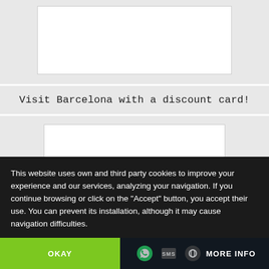[Figure (other): White content box placeholder at the top of the page on a light grey background]
Visit Barcelona with a discount card!
[Figure (other): White content image placeholder below the title on a light grey background]
This website uses own and third party cookies to improve your experience and our services, analyzing your navigation. If you continue browsing or click on the "Accept" button, you accept their use. You can prevent its installation, although it may cause navigation difficulties.
OKAY
MORE INFO